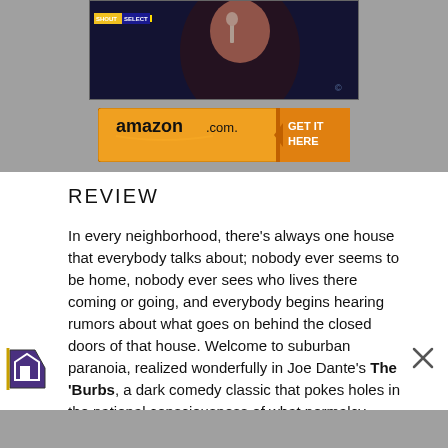[Figure (photo): Movie cover image with Shout Select badge, dark background with figure holding up a finger]
[Figure (other): Amazon.com GET IT HERE button/banner in orange and black]
REVIEW
In every neighborhood, there's always one house that everybody talks about; nobody ever seems to be home, nobody ever sees who lives there coming or going, and everybody begins hearing rumors about what goes on behind the closed doors of that house. Welcome to suburban paranoia, realized wonderfully in Joe Dante's The 'Burbs, a dark comedy classic that pokes holes in the national consciousness of what normalcy means to